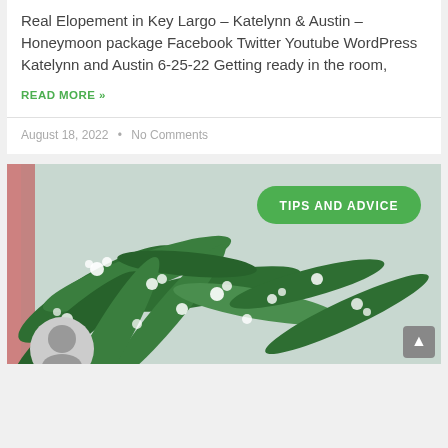Real Elopement in Key Largo – Katelynn & Austin – Honeymoon package Facebook Twitter Youtube WordPress Katelynn and Austin 6-25-22 Getting ready in the room,
READ MORE »
August 18, 2022 • No Comments
[Figure (photo): Photo of tropical/floral greenery with white flowers, overlaid with a green pill-shaped badge reading 'TIPS AND ADVICE'. A circular grey avatar icon appears at the bottom left.]